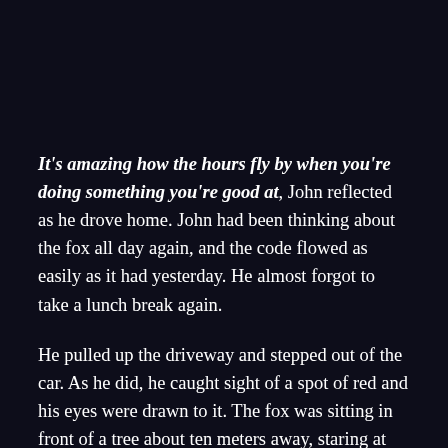It's amazing how the hours fly by when you're doing something you're good at, John reflected as he drove home. John had been thinking about the fox all day again, and the code flowed as easily as it had yesterday. He almost forgot to take a lunch break again.
He pulled up the driveway and stepped out of the car. As he did, he caught sight of a spot of red and his eyes were drawn to it. The fox was sitting in front of a tree about ten meters away, staring at John. John slowly closed the car door. He gritted his teeth when it latched, but the fox did not run away. Relieved, John stood up straight and stared back, smiling at the sight of those cute ears and a face that could halt a nuclear war.